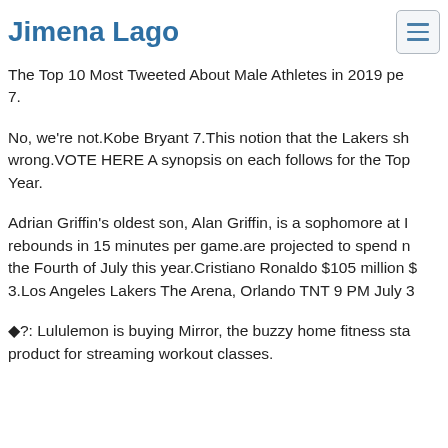Jimena Lago
The Top 10 Most Tweeted About Male Athletes in 2019 pe 7.
No, we're not.Kobe Bryant 7.This notion that the Lakers sh wrong.VOTE HERE A synopsis on each follows for the Top Year.
Adrian Griffin's oldest son, Alan Griffin, is a sophomore at rebounds in 15 minutes per game.are projected to spend m the Fourth of July this year.Cristiano Ronaldo $105 million $ 3.Los Angeles Lakers The Arena, Orlando TNT 9 PM July 3
◆?: Lululemon is buying Mirror, the buzzy home fitness sta product for streaming workout classes.